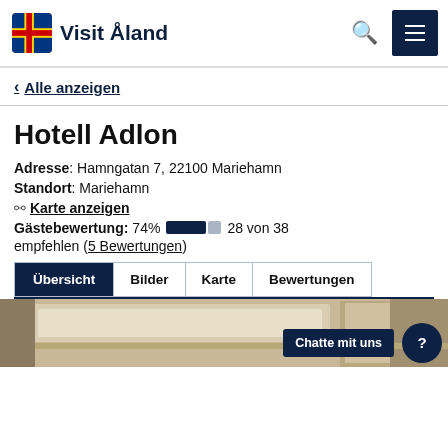Visit Åland
‹ Alle anzeigen
Hotell Adlon
Adresse: Hamngatan 7, 22100 Mariehamn
Standort: Mariehamn
Karte anzeigen
Gästebewertung: 74% 28 von 38 empfehlen (5 Bewertungen)
Übersicht | Bilder | Karte | Bewertungen
[Figure (photo): Interior hotel room photo showing ceiling and window detail with beige/cream tones and curtains]
Chatte mit uns